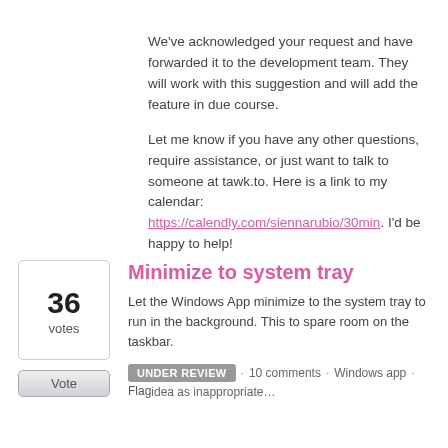We've acknowledged your request and have forwarded it to the development team. They will work with this suggestion and will add the feature in due course.

Let me know if you have any other questions, require assistance, or just want to talk to someone at tawk.to. Here is a link to my calendar: https://calendly.com/siennarubio/30min. I'd be happy to help!
Minimize to system tray
Let the Windows App minimize to the system tray to run in the background. This to spare room on the taskbar.
UNDER REVIEW · 10 comments · Windows app · Flag idea as inappropriate…